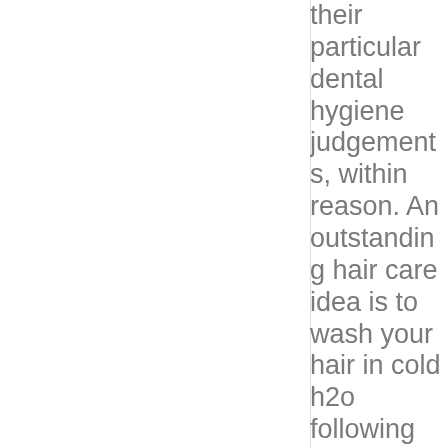their particular dental hygiene judgements, within reason. An outstanding hair care idea is to wash your hair in cold h2o following shampooing. Comfortable or boiling water pieces the fats and humidity from the your hair. Rinsing in cool normal water as an alternative, will assist you to close the moisture